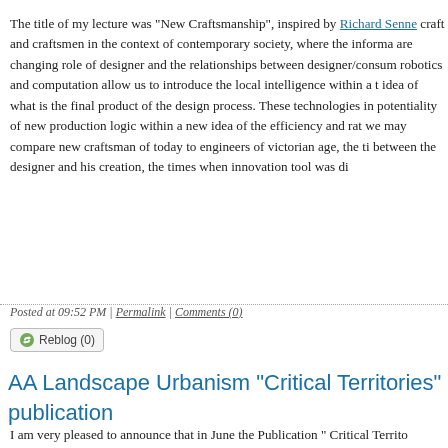The title of my lecture was "New Craftsmanship", inspired by Richard Senne... craft and craftsmen in the context of contemporary society, where the informa... are changing role of designer and the relationships between designer/consum... robotics and computation allow us to introduce the local intelligence within a ... idea of what is the final product of the design process. These technologies in... potentiality of new production logic within a new idea of the efficiency and rat... we may compare new craftsman of today to engineers of victorian age, the ti... between the designer and his creation, the times when innovation tool was di...
Posted at 09:52 PM | Permalink | Comments (0)
Reblog (0)
AA Landscape Urbanism "Critical Territories" publication
I am very pleased to announce that in June the Publication " Critical Territo...